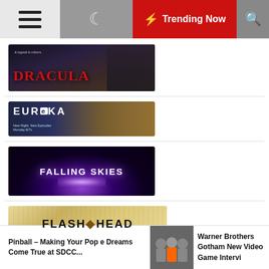≡   🌙   ⚡ Trending Now   🔍
[Figure (photo): Dracula TV show banner — dark gothic image with text 'A legend is reborn.' and red DRACULA logo]
[Figure (photo): Eureka TV show banner — cast photo with EUReKA logo and text 'New Night, New Episodes Monday 8/7c']
[Figure (photo): Falling Skies TV show banner — sci-fi title logo in white against dark purple starfield background]
[Figure (photo): FlashForward TV show banner — gold/tan textured background with FLASHFORWARD logo in black bold letters]
[Figure (photo): Partial image of another TV show banner — dark/grey tones, partially visible]
Pinball – Making Your Pop e Dreams Come True at SDCC...
[Figure (photo): Thumbnail photo of group of people at SDCC]
Warner Brothers Gotham New Video Game Intervi